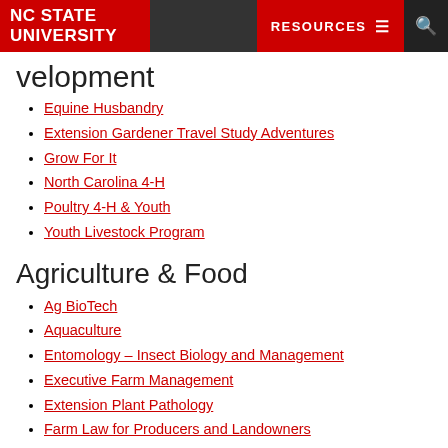NC STATE UNIVERSITY | RESOURCES | Search
…velopment
Equine Husbandry
Extension Gardener Travel Study Adventures
Grow For It
North Carolina 4-H
Poultry 4-H & Youth
Youth Livestock Program
Agriculture & Food
Ag BioTech
Aquaculture
Entomology – Insect Biology and Management
Executive Farm Management
Extension Plant Pathology
Farm Law for Producers and Landowners
Fork to Farmer
NC Farm School
NC FarmLink